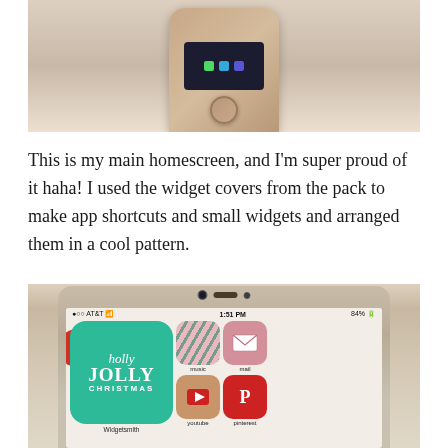[Figure (photo): Top portion of an iPhone lying on a fluffy white/cream surface, showing the bottom of the phone with home button and bottom of the screen visible.]
This is my main homescreen, and I'm super proud of it haha! I used the widget covers from the pack to make app shortcuts and small widgets and arranged them in a cool pattern.
[Figure (photo): Close-up photo of an iPhone showing a Christmas-themed homescreen with a large green 'holly jolly christmas' Widgetsmith widget, music app, mail app, youtube app, and pinterest app icons. Status bar shows AT&T, 1:51 PM, 84% battery.]